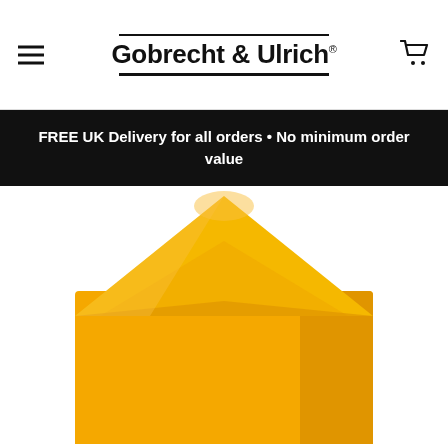Gobrecht & Ulrich
FREE UK Delivery for all orders • No minimum order value
[Figure (photo): A golden yellow envelope with a pointed diamond flap, photographed from above on a white background, flap open pointing upward.]